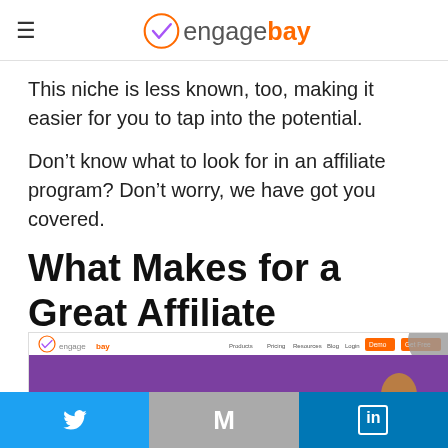engagebay
This niche is less known, too, making it easier for you to tap into the potential.
Don’t know what to look for in an affiliate program? Don’t worry, we have got you covered.
What Makes for a Great Affiliate Program?
[Figure (screenshot): Screenshot of the EngageBay website homepage showing the navigation bar with logo and a purple hero section.]